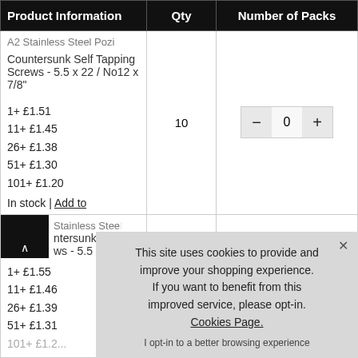| Product Information | Qty | Number of Packs |
| --- | --- | --- |
| A2 Stainless Steel Pozi Countersunk Self Tapping Screws - 5.5 x 22 / No12 x 7/8"
1+ £1.51
11+ £1.45
26+ £1.38
51+ £1.30
101+ £1.20
In stock | Add to... | 10 | — 0 + |
| ...Stainless Steel...ntersunk Self...ws - 5.5 x 25
1+ £1.55
11+ £1.46
26+ £1.39
51+ £1.31
101+... |  |  |
This site uses cookies to provide and improve your shopping experience. If you want to benefit from this improved service, please opt-in. Cookies Page.
I opt-in to a better browsing experience
ACCEPT COOKIES